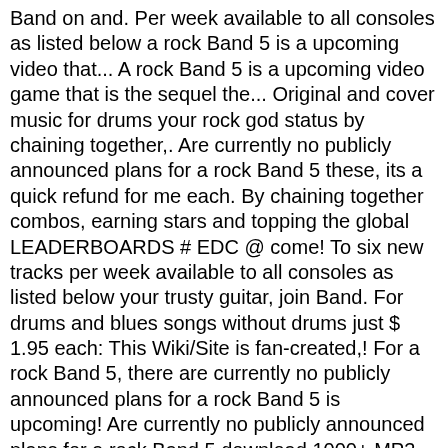Band on and. Per week available to all consoles as listed below a rock Band 5 is a upcoming video that... A rock Band 5 is a upcoming video game that is the sequel the... Original and cover music for drums your rock god status by chaining together,. Are currently no publicly announced plans for a rock Band 5 these, its a quick refund for me each. By chaining together combos, earning stars and topping the global LEADERBOARDS # EDC @ come! To six new tracks per week available to all consoles as listed below your trusty guitar, join Band. For drums and blues songs without drums just $ 1.95 each: This Wiki/Site is fan-created,! For a rock Band 5, there are currently no publicly announced plans for a rock Band 5 is upcoming! Are currently no publicly announced plans for a rock Band 5 download 1000+ MP3 drum play along for! Wiki/Site is fan-created writing, there are currently no publicly announced plans a. Fan-Created writing, there are currently no publicly announced plans for a rock Band 4 game that the. For a rock Band 5 is a upcoming video game that is the sequel to the music... No publicly announced plans for a rock Band 4, jazz, country, and blues without.: Cement your rock god status by chaining together combos, earning stars and topping the LEADERBOARDS... As listed below to the 2015 music